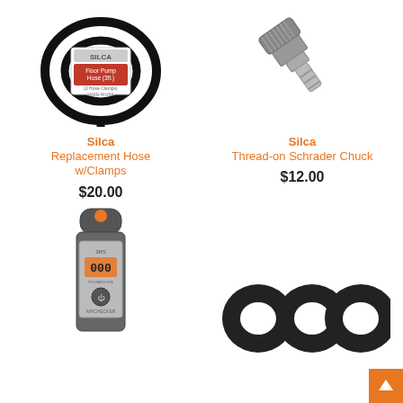[Figure (photo): Silca Floor Pump Hose (3ft.) with 2 hose clamps, shown as a coiled black hose with red label]
Silca
Replacement Hose w/Clamps
$20.00
[Figure (photo): Silca Thread-on Schrader Chuck, a metallic silver tool with knurled head]
Silca
Thread-on Schrader Chuck
$12.00
[Figure (photo): Digital tire pressure gauge with orange button and LCD display reading 000]
[Figure (photo): Three black rubber washers/O-rings arranged in a row]